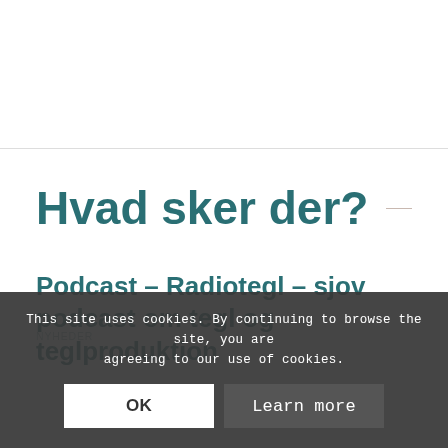Hvad sker der?
Podcast – Radiotegl – sjov podcast om tegl og teglproduktion
NYHEDER
This site uses cookies. By continuing to browse the site, you are agreeing to our use of cookies.
OK
Learn more